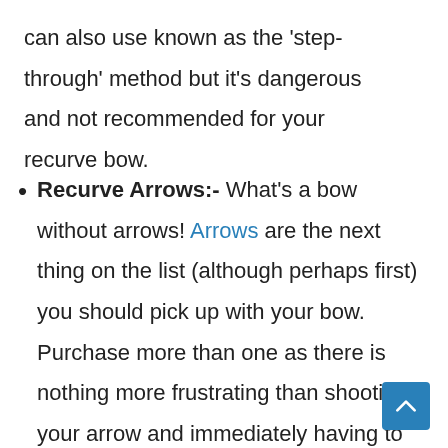can also use known as the 'step-through' method but it's dangerous and not recommended for your recurve bow.
Recurve Arrows:- What's a bow without arrows! Arrows are the next thing on the list (although perhaps first) you should pick up with your bow. Purchase more than one as there is nothing more frustrating than shooting your arrow and immediately having to go and